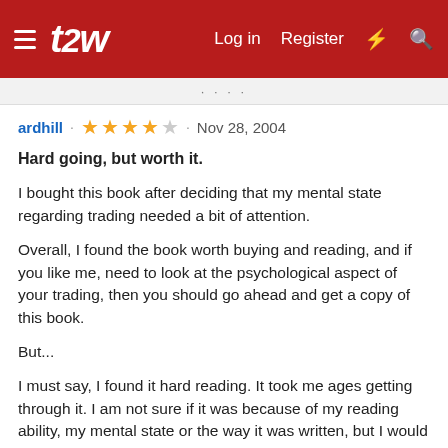t2w — Log in  Register
ardhill · ★★★★☆ · Nov 28, 2004
Hard going, but worth it.
I bought this book after deciding that my mental state regarding trading needed a bit of attention.
Overall, I found the book worth buying and reading, and if you like me, need to look at the psychological aspect of your trading, then you should go ahead and get a copy of this book.
But...
I must say, I found it hard reading. It took me ages getting through it. I am not sure if it was because of my reading ability, my mental state or the way it was written, but I would probably lean toward the fault being in the way it was written. I had to keep going back over section of the book to see what I had just